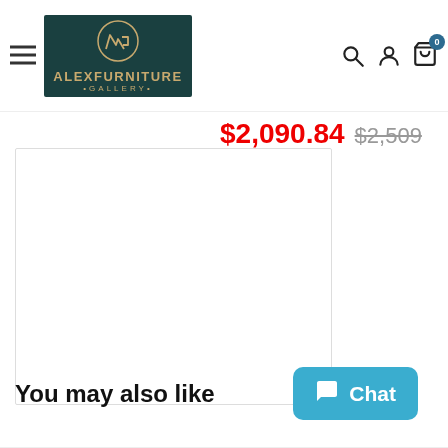Alex Furniture Gallery — navigation header with logo, search, account, and cart icons
$2,090.84 $2,509
[Figure (photo): White empty product image area representing a furniture item display box]
You may also like
Chat